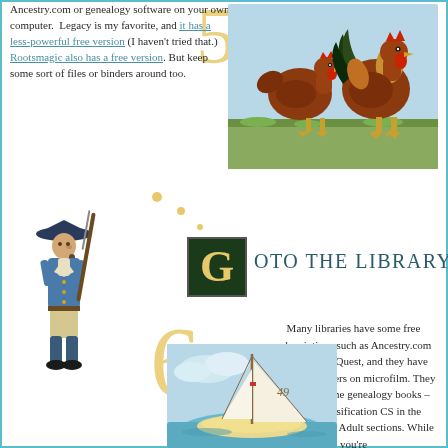Ancestry.com or genealogy software on your own computer.  Legacy is my favorite, and it has a less-powerful free version (I haven't tried that.)  Rootsmagic also has a free version. But keep some sort of files or binders around too.
[Figure (illustration): Vintage illustration of two brown/red chickens (hen and rooster) standing on grass with a light blue background]
[Figure (illustration): Vintage illustration of a Revolutionary War era soldier in a tricorn hat, holding a musket]
G OTO THE LIBRARY
[Figure (illustration): Vintage illustration of a small sailboat with white sails on water, sail number 49]
Many libraries have some free subscriptions such as Ancestry.com and HeritageQuest, and they have local newspapers on microfilm. They also have some genealogy books – look in classification CS in the Reference and Adult sections. While you're